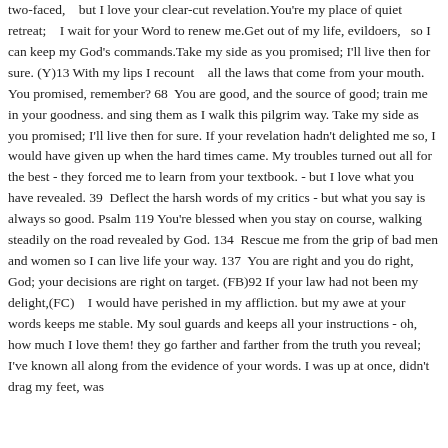two-faced,    but I love your clear-cut revelation.You're my place of quiet retreat;    I wait for your Word to renew me.Get out of my life, evildoers,   so I can keep my God's commands.Take my side as you promised; I'll live then for sure. (Y)13 With my lips I recount    all the laws that come from your mouth. You promised, remember? 68  You are good, and the source of good; train me in your goodness. and sing them as I walk this pilgrim way. Take my side as you promised; I'll live then for sure. If your revelation hadn't delighted me so, I would have given up when the hard times came. My troubles turned out all for the best - they forced me to learn from your textbook. - but I love what you have revealed. 39  Deflect the harsh words of my critics - but what you say is always so good. Psalm 119 You're blessed when you stay on course, walking steadily on the road revealed by God. 134  Rescue me from the grip of bad men and women so I can live life your way. 137  You are right and you do right, God; your decisions are right on target. (FB)92 If your law had not been my delight,(FC)    I would have perished in my affliction. but my awe at your words keeps me stable. My soul guards and keeps all your instructions - oh, how much I love them! they go farther and farther from the truth you reveal; I've known all along from the evidence of your words. I was up at once, didn't drag my feet, was